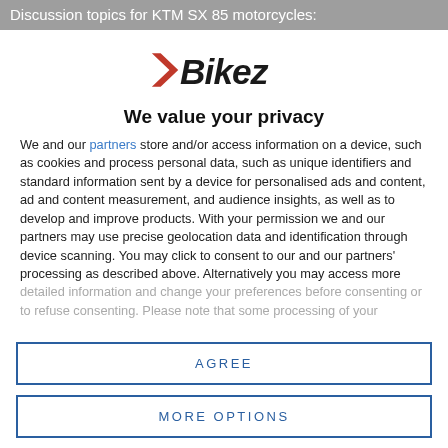Discussion topics for KTM SX 85 motorcycles:
[Figure (logo): Bikez logo with stylized arrow and bold italic text]
We value your privacy
We and our partners store and/or access information on a device, such as cookies and process personal data, such as unique identifiers and standard information sent by a device for personalised ads and content, ad and content measurement, and audience insights, as well as to develop and improve products. With your permission we and our partners may use precise geolocation data and identification through device scanning. You may click to consent to our and our partners' processing as described above. Alternatively you may access more detailed information and change your preferences before consenting or to refuse consenting. Please note that some processing of your
AGREE
MORE OPTIONS